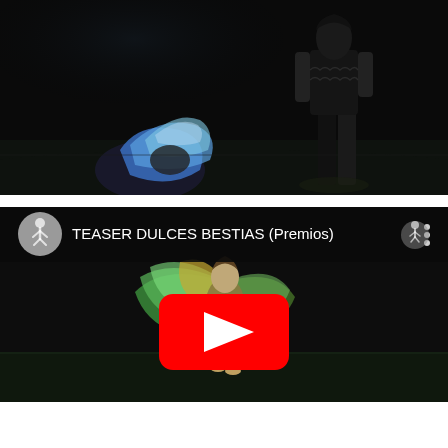[Figure (photo): Dark stage photo showing two performers: one in colorful blue/white costume lying on the floor on the left, another standing on the right in black outfit, dramatic stage lighting against a black background.]
[Figure (screenshot): YouTube video thumbnail/embed showing 'TEASER DULCES BESTIAS (Premios)' — a performer in a colorful feathered green and yellow costume dancing on a dark stage, with a red YouTube play button overlay in the center. Channel avatar (circular, grey with dancer figure) visible top-left, channel icon top-right with three dots menu.]